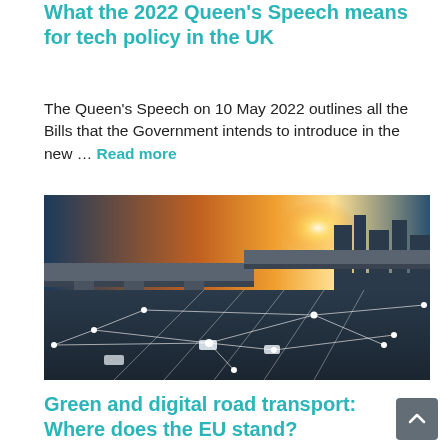What the 2022 Queen's Speech means for tech policy in the UK
The Queen's Speech on 10 May 2022 outlines all the Bills that the Government intends to introduce in the new … Read more
[Figure (photo): Aerial view of a multi-lane highway interchange at sunset with white network connectivity lines overlaid, representing smart/digital road transport infrastructure.]
Green and digital road transport: Where does the EU stand?